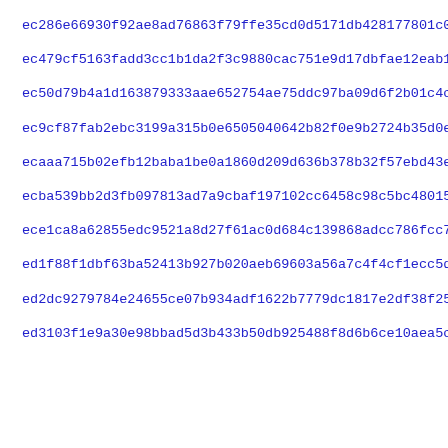ec286e66930f92ae8ad76863f79ffe35cd0d5171db428177801c06bfc040f
ec479cf5163fadd3cc1b1da2f3c9880cac751e9d17dbfae12eab1b53d78f7
ec50d79b4a1d163879333aae652754ae75ddc97ba09d6f2b01c4c080ca409
ec9cf87fab2ebc3199a315b0e6505040642b82f0e9b2724b35d0eb7625d14
ecaaa715b02efb12baba1be0a1860d209d636b378b32f57ebd43e965bf88d
ecba539bb2d3fb097813ad7a9cbaf197102cc6458c98c5bc48015299d224d
ece1ca8a62855edc9521a8d27f61ac0d684c139868adcc786fcc75a48501c
ed1f88f1dbf63ba52413b927b020aeb69603a56a7c4f4cf1ecc5dbb1dd34f
ed2dc9279784e24655ce07b934adf1622b7779dc1817e2df38f25953e5309
ed3103f1e9a30e98bbad5d3b433b50db925488f8d6b6ce10aea5c8b464157